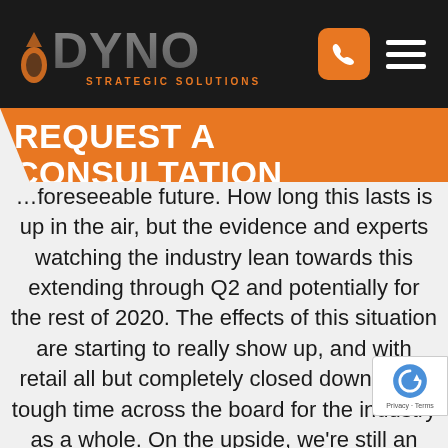[Figure (logo): DYNO Strategic Solutions logo with orange text and animal silhouette on dark background]
REQUEST A CONSULTATION
…foreseeable future. How long this lasts is up in the air, but the evidence and experts watching the industry lean towards this extending through Q2 and potentially for the rest of 2020. The effects of this situation are starting to really show up, and with retail all but completely closed down, it's a tough time across the board for the industry as a whole. On the upside, we're still an essential business, phones are still ringing, and